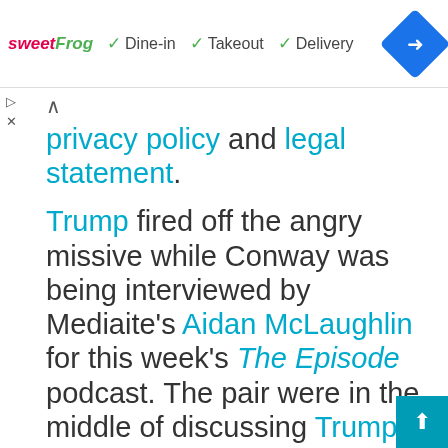[Figure (screenshot): SweetFrog ad banner with Dine-in, Takeout, Delivery options and navigation diamond icon]
privacy policy and legal statement.
Trump fired off the angry missive while Conway was being interviewed by Mediaite's Aidan McLaughlin for this week's The Episode podcast. The pair were in the middle of discussing Trump's claims that the 2020 election was